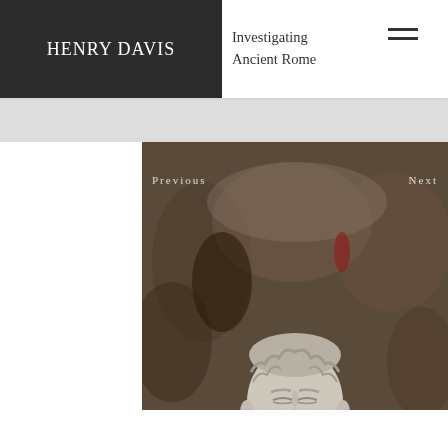HENRY DAVIS
Investigating Ancient Rome
[Figure (photo): A classical marble bust of a Roman figure with curly hair and closed eyes, overlaid on a dark historical battle painting. Navigation labels 'Previous' and 'Next' appear on the left and right sides of the painting background.]